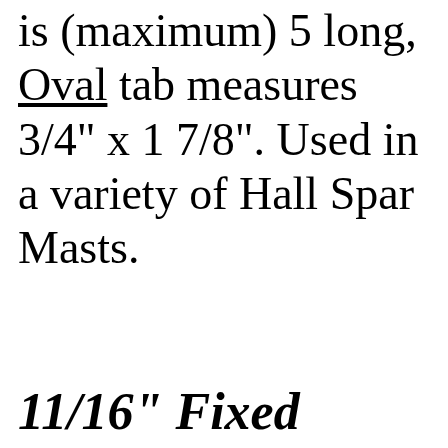is (maximum) 5 long, Oval tab measures 3/4" x 1 7/8". Used in a variety of Hall Spar Masts.
11/16" Fixed